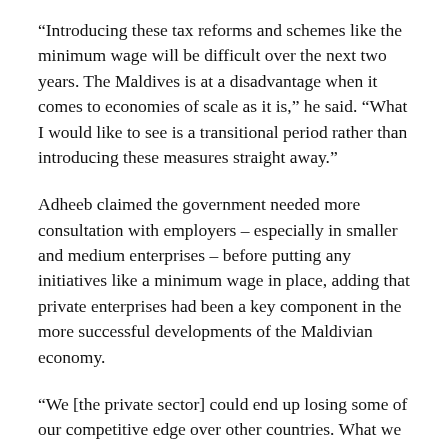“Introducing these tax reforms and schemes like the minimum wage will be difficult over the next two years. The Maldives is at a disadvantage when it comes to economies of scale as it is,” he said. “What I would like to see is a transitional period rather than introducing these measures straight away.”
Adheeb claimed the government needed more consultation with employers – especially in smaller and medium enterprises – before putting any initiatives like a minimum wage in place, adding that private enterprises had been a key component in the more successful developments of the Maldivian economy.
“We [the private sector] could end up losing some of our competitive edge over other countries. What we need is some breathing space and for these reforms to be bought in gradually,” he said. “We have to